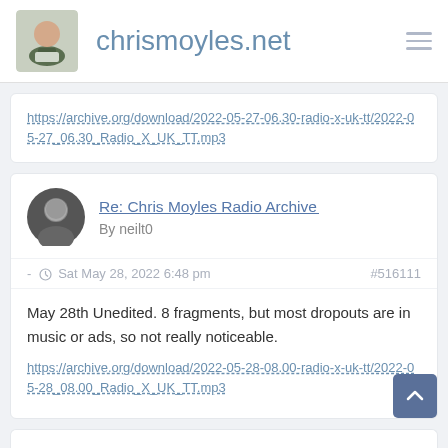chrismoyles.net
https://archive.org/download/2022-05-27-06.30-radio-x-uk-tt/2022-05-27_06.30_Radio_X_UK_TT.mp3
Re: Chris Moyles Radio Archive (Discus
By neilt0
- Sat May 28, 2022 6:48 pm   #516111
May 28th Unedited. 8 fragments, but most dropouts are in music or ads, so not really noticeable.
https://archive.org/download/2022-05-28-08.00-radio-x-uk-tt/2022-05-28_08.00_Radio_X_UK_TT.mp3